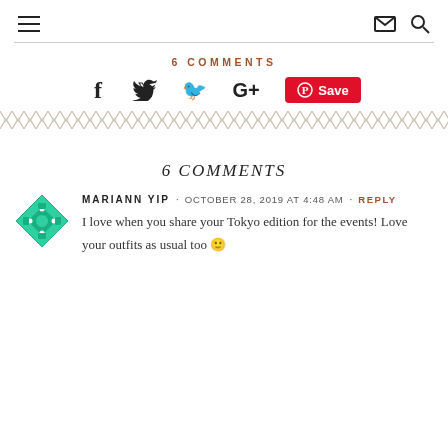Navigation header with hamburger menu, envelope icon, and search icon
6 COMMENTS
[Figure (infographic): Social sharing bar with Facebook, Twitter, Google+, and Pinterest Save buttons]
[Figure (infographic): Zigzag decorative divider pattern]
6 Comments
[Figure (illustration): Green geometric avatar icon with diamond/cross pattern]
MARIANN YIP · OCTOBER 28, 2019 AT 4:48 AM · REPLY
I love when you share your Tokyo edition for the events! Love your outfits as usual too 🙂